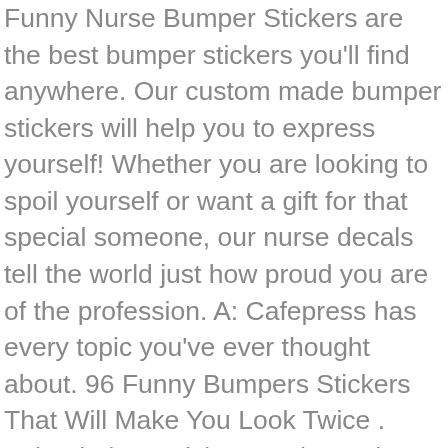Funny Nurse Bumper Stickers are the best bumper stickers you'll find anywhere. Our custom made bumper stickers will help you to express yourself! Whether you are looking to spoil yourself or want a gift for that special someone, our nurse decals tell the world just how proud you are of the profession. A: Cafepress has every topic you've ever thought about. 96 Funny Bumpers Stickers That Will Make You Look Twice . School Floor Stickers and Decals. Make others aware of your cause or show off your family and their accomplishments with the widest A: Of course! Q: Do you offer other forms of car stickers? Unique Funny Nursing Stickers designed and sold by artists. Nurse Decals Nurses, and all those who tirelessly serve the public, hold a special place in our hearts. Sticker (Oval), Feel Safe Sleep with a Nurse Oval Sticker, Bring on Nursing School! These stickers and funny decals can be the perfect accessory to any journal, laptop or even to include in some witty gift wrapping! Different size stickers to choose from including 3 $6.99. Unique Funny Nurse Stickers designed and sold by artists. Shop Happy Nurses Week. White entrance mat Nurse Decals Nurses and all those...